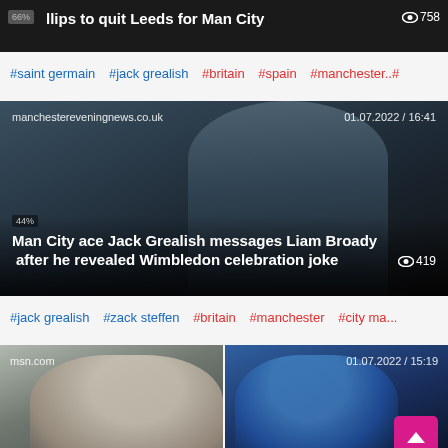[Figure (screenshot): Partial news card showing headline about Phillips quitting Leeds for Man City, with view count 758]
#saint germain #jack grealish #britain #spain #manchester..#
[Figure (screenshot): News card from manchestereveningnews.co.uk dated 01.07.2022 / 16:41 showing Jack Grealish doing ear-cupping celebration. Headline: Man City ace Jack Grealish messages Liam Broady after he revealed Wimbledon celebration joke. View count: 419. Percentage badge: 44%]
#jack grealish #zack steffen #britain #manchester #city ma...
[Figure (screenshot): Two-column news card. Left: msn.com showing Liam Broady doing ear-cupping celebration. Right: dated 01.07.2022 / 15:19 showing Jack Grealish. Pink scroll-to-top button overlaid.]